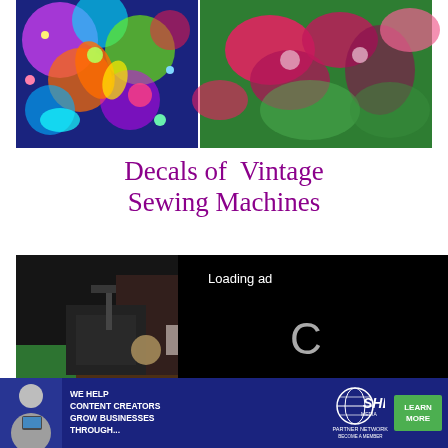[Figure (photo): Two colorful decorative fabric/art images side by side: left shows psychedelic paisley and floral patterns in bright blues, greens, reds; right shows pink/purple orchid flowers on green background.]
Decals of Vintage Sewing Machines
[Figure (photo): Dark photo of a vintage sewing machine on a wooden table in a dim room with furniture in the background.]
[Figure (screenshot): Black video player overlay showing 'Loading ad' text, a loading spinner (letter C shape), and video controls: pause button, expand button, mute button.]
Signup for our ne
Email
X
[Figure (infographic): Advertisement banner: dark blue background with woman holding tablet on left, white bold text 'WE HELP CONTENT CREATORS GROW BUSINESSES THROUGH...', SHE Media Partner Network logo in center, green 'LEARN MORE' button on right.]